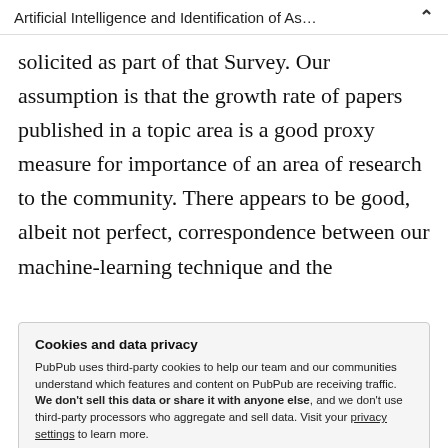Artificial Intelligence and Identification of As…
solicited as part of that Survey. Our assumption is that the growth rate of papers published in a topic area is a good proxy measure for importance of an area of research to the community. There appears to be good, albeit not perfect, correspondence between our machine-learning technique and the
Cookies and data privacy
PubPub uses third-party cookies to help our team and our communities understand which features and content on PubPub are receiving traffic. We don't sell this data or share it with anyone else, and we don't use third-party processors who aggregate and sell data. Visit your privacy settings to learn more.
based process and those within the